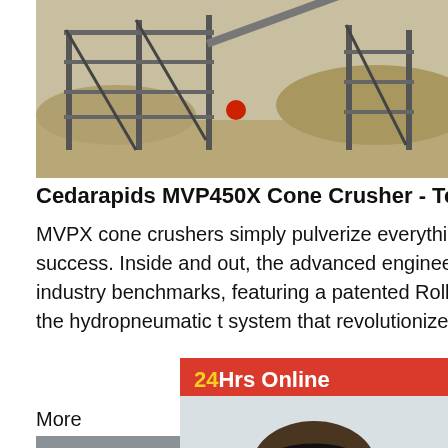[Figure (photo): Outdoor industrial cone crusher equipment on sandy/desert terrain with scaffolding and conveyor structures]
Cedarapids MVP450X Cone Crusher - Terex MPS
MVPX cone crushers simply pulverize everything that stands in the way of success. Inside and out, the advanced engineering of the MVPX sets industry benchmarks, featuring a patented Rollercone bearing design and the hydropneumatic tramp system that revolutionized the industry.
More
[Figure (photo): Industrial building/plant structure for cone crusher model HX10, showing heavy steel framework and processing equipment]
The Models And Parameters Of Cone Crusher HX10
[Figure (photo): Advertisement sidebar showing woman with headset and 24Hrs Online support banner, with chat now button and enquire option]